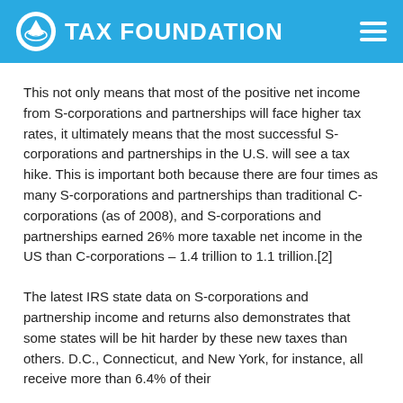TAX FOUNDATION
This not only means that most of the positive net income from S-corporations and partnerships will face higher tax rates, it ultimately means that the most successful S-corporations and partnerships in the U.S. will see a tax hike. This is important both because there are four times as many S-corporations and partnerships than traditional C-corporations (as of 2008), and S-corporations and partnerships earned 26% more taxable net income in the US than C-corporations – 1.4 trillion to 1.1 trillion.[2]
The latest IRS state data on S-corporations and partnership income and returns also demonstrates that some states will be hit harder by these new taxes than others. D.C., Connecticut, and New York, for instance, all receive more than 6.4% of their